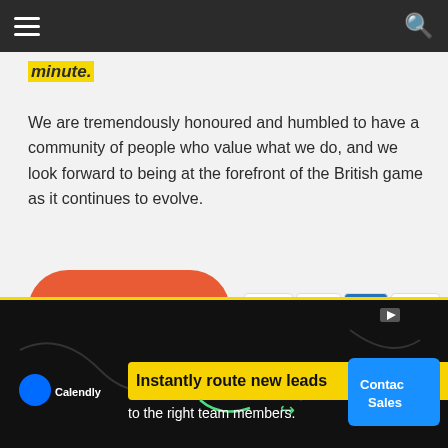Navigation bar with hamburger menu and search icon
minute.
We are tremendously honoured and humbled to have a community of people who value what we do, and we look forward to being at the forefront of the British game as it continues to evolve.
[Figure (other): Orange rounded button with text 'Support Hoopsfix →' and payment icons (VISA, Mastercard, American Express, PayPal)]
[Figure (other): Calendly advertisement banner: 'Instantly route new leads to the right team members.' with Contact Sales button]